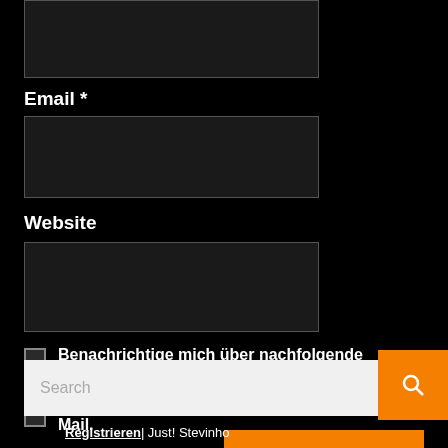[Figure (screenshot): Dark-themed webpage comment form section showing input fields for Email and Website, checkboxes for email notification options, and a Post Comment button. Below is a search bar with an orange search icon button and a footer link.]
Email *
Website
Benachrichtige mich über nachfolgende Kommentare via E-Mail.
Benachrichtige mich über neue Beiträge via E-Mail.
Post Comment
Search
Registrieren| Just! Stevinho